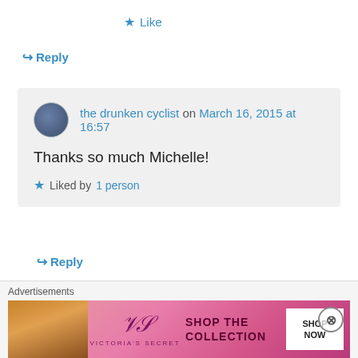★ Like
↪ Reply
the drunken cyclist on March 16, 2015 at 16:57
Thanks so much Michelle!
★ Liked by 1 person
↪ Reply
Ben Franks on March 16, 2015 at 16:52
Advertisements
[Figure (photo): Victoria's Secret advertisement banner with model and 'SHOP THE COLLECTION / SHOP NOW' call to action]